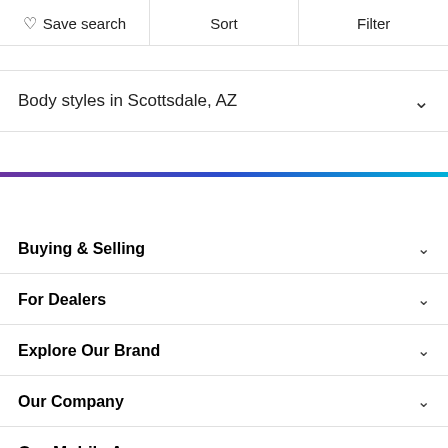Save search  Sort  Filter
Body styles in Scottsdale, AZ
Buying & Selling
For Dealers
Explore Our Brand
Our Company
Our Mobile App